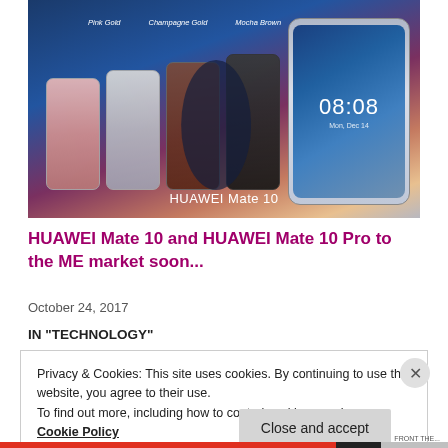[Figure (photo): Huawei Mate 10 product launch event. A presenter stands on stage in front of a large display showing four Huawei Mate 10 smartphones in Pink Gold, Champagne Gold, and Mocha Brown colors, along with a large close-up of the device showing the clock at 08:08. Text at bottom reads 'HUAWEI Mate 10'.]
HUAWEI Mate 10 and HUAWEI Mate 10 Pro to the ME market soon...
October 24, 2017
IN "TECHNOLOGY"
Privacy & Cookies: This site uses cookies. By continuing to use this website, you agree to their use.
To find out more, including how to control cookies, see here: Cookie Policy
Close and accept